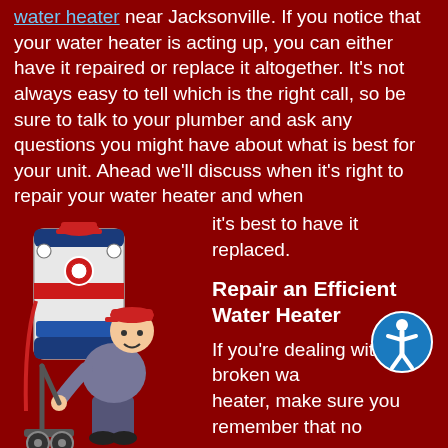water heater near Jacksonville. If you notice that your water heater is acting up, you can either have it repaired or replace it altogether. It's not always easy to tell which is the right call, so be sure to talk to your plumber and ask any questions you might have about what is best for your unit. Ahead we'll discuss when it's right to repair your water heater and when it's best to have it replaced.
[Figure (illustration): Cartoon illustration of a plumber/worker in grey uniform and red cap pushing a water heater on a dolly/hand truck]
Repair an Efficient Water Heater
If you're dealing with a broken water heater, make sure you remember that no unit is perfect. Just because your hot water heater had a slip up doesn't necessarily mean that it's time to do away with it; this is especially true if your unit is on the newer side. If you have only purchased your heater within the past couple of years, it may also still be under warranty. If your hot water heater is broken down but can be repaired in a way that will fix the problem for the foreseeable future, go for that repair rather than fully replacing your unit.